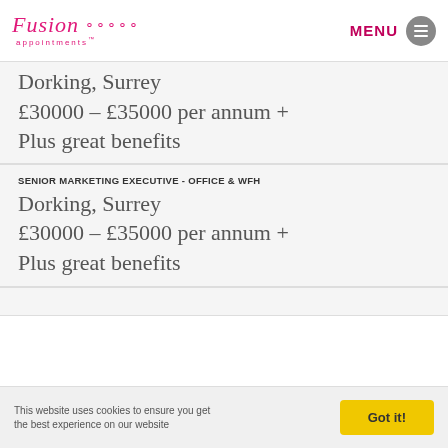Fusion appointments — MENU
Dorking, Surrey
£30000 – £35000 per annum +
Plus great benefits
SENIOR MARKETING EXECUTIVE - OFFICE & WFH
Dorking, Surrey
£30000 – £35000 per annum +
Plus great benefits
This website uses cookies to ensure you get the best experience on our website   Got it!